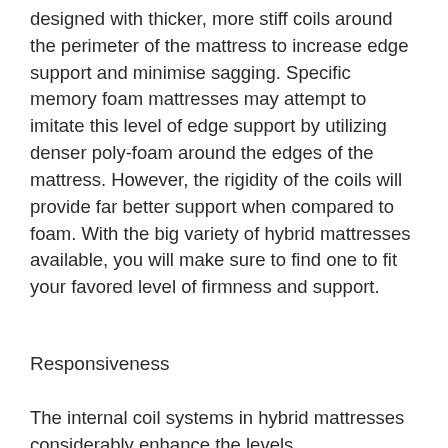designed with thicker, more stiff coils around the perimeter of the mattress to increase edge support and minimise sagging. Specific memory foam mattresses may attempt to imitate this level of edge support by utilizing denser poly-foam around the edges of the mattress. However, the rigidity of the coils will provide far better support when compared to foam. With the big variety of hybrid mattresses available, you will make sure to find one to fit your favored level of firmness and support.
Responsiveness
The internal coil systems in hybrid mattresses considerably enhance the levels